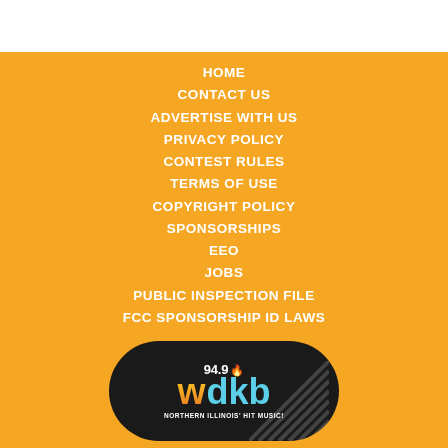HOME
CONTACT US
ADVERTISE WITH US
PRIVACY POLICY
CONTEST RULES
TERMS OF USE
COPYRIGHT POLICY
SPONSORSHIPS
EEO
JOBS
PUBLIC INSPECTION FILE
FCC SPONSORSHIP ID LAWS
[Figure (logo): WDKB 94.9 radio station logo — dark rounded rectangle with colorful stylized lettering 'wdkb' and tagline 'Northern Illinois' Hit Music!']